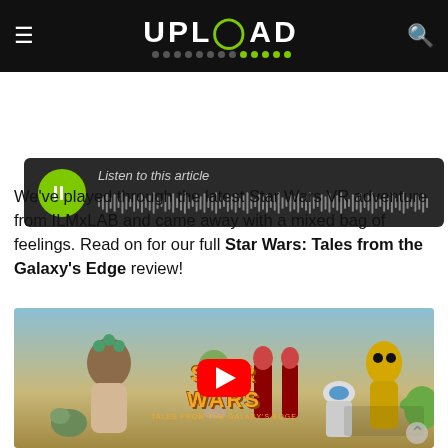UPLOAD
[Figure (screenshot): Audio player widget with green play button and waveform. Label: Listen to this article]
We've played through the latest Star Wars VR adventure from ILMxLAB and came away with a mixed bag of feelings. Read on for our full Star Wars: Tales from the Galaxy's Edge review!
[Figure (screenshot): YouTube video thumbnail for Star Wars: Tales from the Galaxy's Edge Live First Impressions, showing various Star Wars characters including C-3PO, R2-D2, and Yoda with a red YouTube play button in the center.]